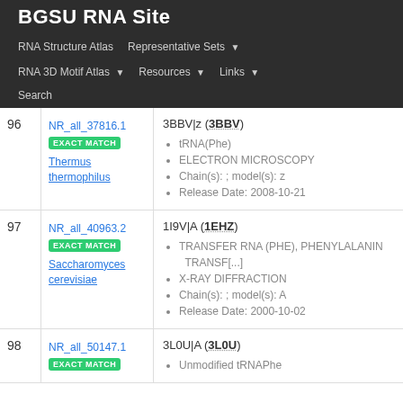BGSU RNA Site
RNA Structure Atlas | Representative Sets ▾
RNA 3D Motif Atlas ▾ | Resources ▾ | Links ▾
Search
| # | ID | Info |
| --- | --- | --- |
| 96 | NR_all_37816.1
EXACT MATCH
Thermus thermophilus | 3BBV|z (3BBV)
• tRNA(Phe)
• ELECTRON MICROSCOPY
• Chain(s): ; model(s): z
• Release Date: 2008-10-21 |
| 97 | NR_all_40963.2
EXACT MATCH
Saccharomyces cerevisiae | 1I9V|A (1EHZ)
• TRANSFER RNA (PHE), PHENYLALANIN TRANSF[...]
• X-RAY DIFFRACTION
• Chain(s): ; model(s): A
• Release Date: 2000-10-02 |
| 98 | NR_all_50147.1
EXACT MATCH | 3L0U|A (3L0U)
• Unmodified tRNAPhe |